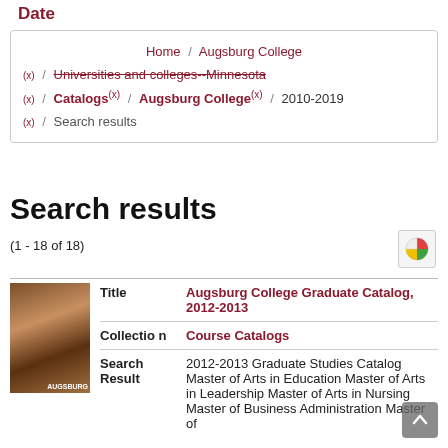Date
Home / Augsburg College (x) / Universities and colleges--Minnesota (x) / Catalogs (x) / Augsburg College (x) / 2010-2019 (x) / Search results
Search results
(1 - 18 of 18)
|  | Title | Augsburg College Graduate Catalog, 2012-2013 |
| --- | --- | --- |
|  | Collection | Course Catalogs |
|  | Search Result | 2012-2013 Graduate Studies Catalog Master of Arts in Education Master of Arts in Leadership Master of Arts in Nursing Master of Business Administration Master of |